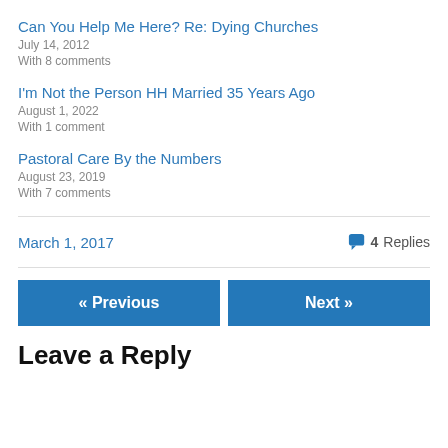Can You Help Me Here? Re: Dying Churches
July 14, 2012
With 8 comments
I'm Not the Person HH Married 35 Years Ago
August 1, 2022
With 1 comment
Pastoral Care By the Numbers
August 23, 2019
With 7 comments
March 1, 2017
4 Replies
« Previous
Next »
Leave a Reply